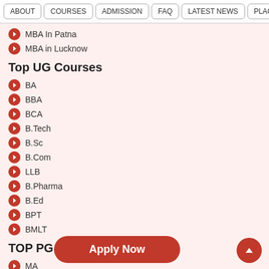ABOUT | COURSES | ADMISSION | FAQ | LATEST NEWS | PLACEME...
MBA In Patna
MBA in Lucknow
Top UG Courses
BA
BBA
BCA
B.Tech
B.Sc
B.Com
LLB
B.Pharma
B.Ed
BPT
BMLT
TOP PG Courses
MA
MCA